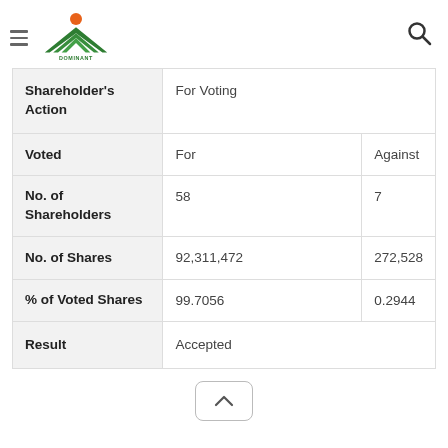Dominant — navigation header with logo and search icon
| Shareholder's Action | For Voting |  |
| --- | --- | --- |
| Voted | For | Against |
| No. of Shareholders | 58 | 7 |
| No. of Shares | 92,311,472 | 272,528 |
| % of Voted Shares | 99.7056 | 0.2944 |
| Result | Accepted |  |